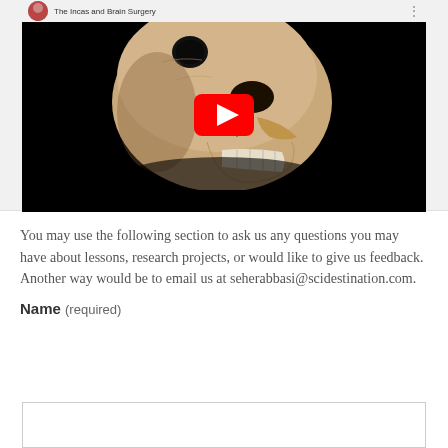[Figure (screenshot): YouTube video thumbnail showing a skull with a hole in it, with red YouTube play button overlay. Video title bar at top reads 'The Incas and Brain Surgery'. The thumbnail has a black background with the skull shown in side profile.]
You may use the following section to ask us any questions you may have about lessons, research projects, or would like to give us feedback. Another way would be to email us at seherabbasi@scidestination.com.
Name (required)